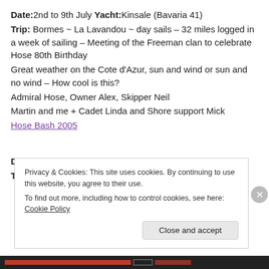Date:2nd to 9th July Yacht:Kinsale (Bavaria 41) Trip: Bormes ~ La Lavandou ~ day sails – 32 miles logged in a week of sailing – Meeting of the Freeman clan to celebrate Hose 80th Birthday
Great weather on the Cote d'Azur, sun and wind or sun and no wind – How cool is this?
Admiral Hose, Owner Alex, Skipper Neil
Martin and me + Cadet Linda and Shore support Mick
Hose Bash 2005
Date:8th to 12th Sept 2005 Yacht:Marathias (Contest 42) Trip: Chatham ~ Dunkirk ~ Ramsgate ~ Chatham
Privacy & Cookies: This site uses cookies. By continuing to use this website, you agree to their use.
To find out more, including how to control cookies, see here: Cookie Policy
Close and accept